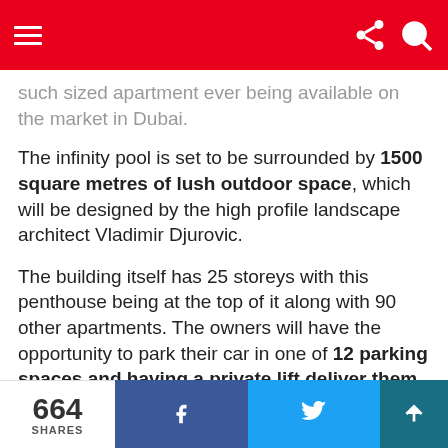[Navigation bar with hamburger menu, share icon, and search icon]
such sized apartment ever being available on the market in Dubai.
The infinity pool is set to be surrounded by 1500 square metres of lush outdoor space, which will be designed by the high profile landscape architect Vladimir Djurovic.
The building itself has 25 storeys with this penthouse being at the top of it along with 90 other apartments. The owners will have the opportunity to park their car in one of 12 parking spaces and having a private lift deliver them to
664 SHARES [Facebook share button] [Twitter share button] [Scroll up button]